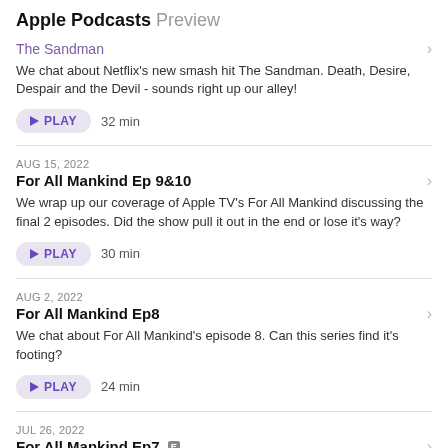Apple Podcasts Preview
The Sandman
We chat about Netflix's new smash hit The Sandman. Death, Desire, Despair and the Devil - sounds right up our alley!
PLAY  32 min
AUG 15, 2022
For All Mankind Ep 9&10
We wrap up our coverage of Apple TV's For All Mankind discussing the final 2 episodes. Did the show pull it out in the end or lose it's way?
PLAY  30 min
AUG 2, 2022
For All Mankind Ep8
We chat about For All Mankind's episode 8. Can this series find it's footing?
PLAY  24 min
JUL 26, 2022
For All Mankind Ep7